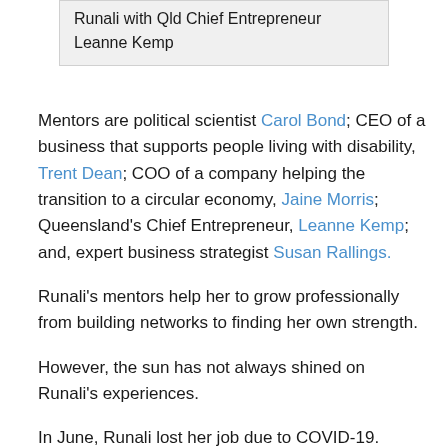| Runali with Qld Chief Entrepreneur Leanne Kemp |
Mentors are political scientist Carol Bond; CEO of a business that supports people living with disability, Trent Dean; COO of a company helping the transition to a circular economy, Jaine Morris; Queensland's Chief Entrepreneur, Leanne Kemp; and, expert business strategist Susan Rallings.
Runali's mentors help her to grow professionally from building networks to finding her own strength.
However, the sun has not always shined on Runali's experiences.
In June, Runali lost her job due to COVID-19.
What kept her positive was practising mindfulness, which she learnt from the Business, Economics and Law Wise Leadership course.